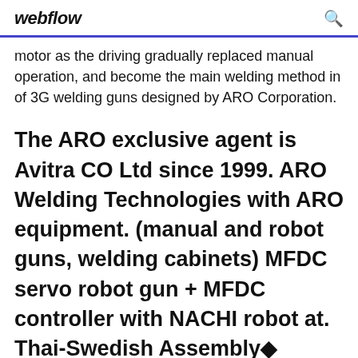webflow
motor as the driving gradually replaced manual operation, and become the main welding method in of 3G welding guns designed by ARO Corporation.
The ARO exclusive agent is Avitra CO Ltd since 1999. ARO Welding Technologies with ARO equipment. (manual and robot guns, welding cabinets) MFDC servo robot gun + MFDC controller with NACHI robot at. Thai-Swedish Assembly�